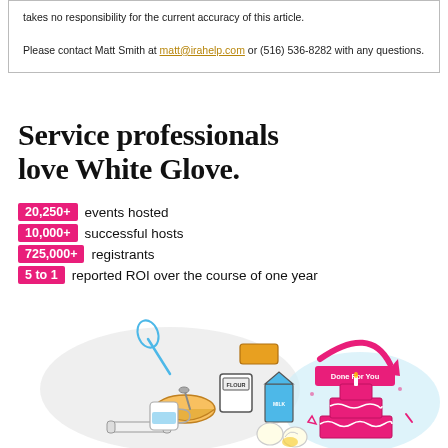takes no responsibility for the current accuracy of this article. Please contact Matt Smith at matt@irahelp.com or (516) 536-8282 with any questions.
Service professionals love White Glove.
20,250+ events hosted
10,000+ successful hosts
725,000+ registrants
5 to 1 reported ROI over the course of one year
[Figure (illustration): Illustration showing baking ingredients (flour, milk, eggs, bowl, whisk, rolling pin) on the left with a pink arrow pointing right to a decorated cake with 'Done For You' label on the right.]